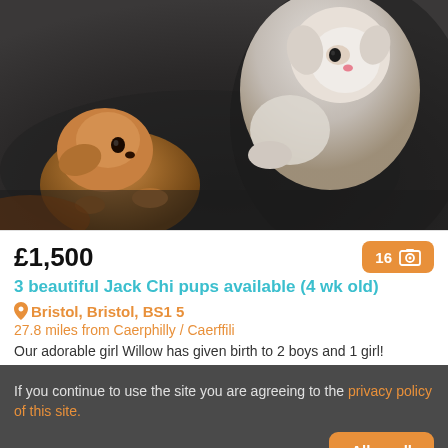[Figure (photo): Photo of Jack Chi puppies — a brown/tan puppy and a white puppy resting on dark leather furniture]
£1,500
16 [photo count badge]
3 beautiful Jack Chi pups available (4 wk old)
Bristol, Bristol, BS1 5
27.8 miles from Caerphilly / Caerffili
Our adorable girl Willow has given birth to 2 boys and 1 girl!
If you continue to use the site you are agreeing to the privacy policy of this site.
Allow all